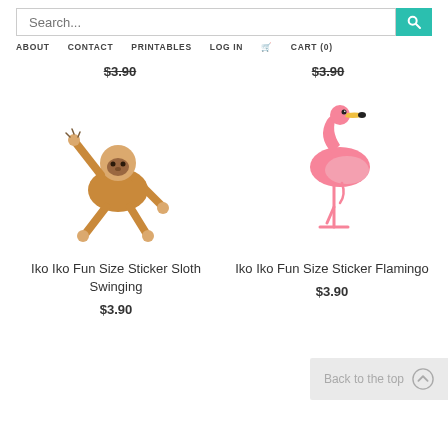Search... | ABOUT | CONTACT | PRINTABLES | LOG IN | CART (0)
$3.90   $3.90
[Figure (illustration): Cartoon sloth hanging/swinging with arms raised, brown color, white face with simple features]
Iko Iko Fun Size Sticker Sloth Swinging
$3.90
[Figure (illustration): Cartoon flamingo standing on one leg, pink color, with beak detail]
Iko Iko Fun Size Sticker Flamingo
$3.90
Back to the top